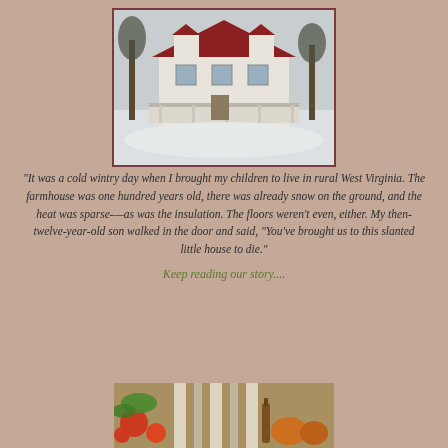[Figure (photo): A farmhouse in winter, covered in snow, with bare trees on either side. The house has a red roof and a front porch. Snowy ground fills the foreground.]
"It was a cold wintry day when I brought my children to live in rural West Virginia. The farmhouse was one hundred years old, there was already snow on the ground, and the heat was sparse-—as was the insulation. The floors weren't even, either. My then-twelve-year-old son walked in the door and said, “You've brought us to this slanted little house to die.”
Keep reading our story....
[Figure (photo): A partial photo at the bottom showing garden produce — tomatoes, pumpkins, and other vegetables with striped fabric in the background.]